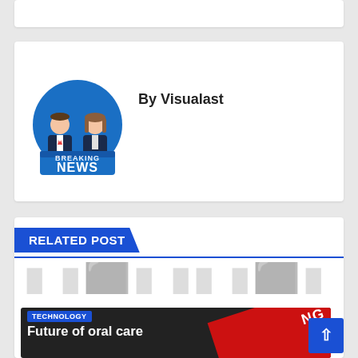[Figure (illustration): Breaking News logo with two news anchors behind a desk with 'BREAKING NEWS' banner]
By Visualast
RELATED POST
TECHNOLOGY
Future of oral care